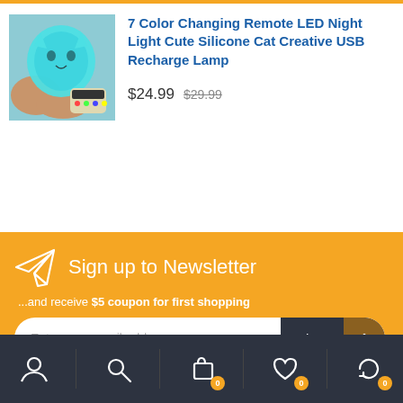[Figure (photo): Product photo: a glowing teal/blue silicone cat-shaped LED night light held in hands, with a remote control visible.]
7 Color Changing Remote LED Night Light Cute Silicone Cat Creative USB Recharge Lamp
$24.99  $29.99
Sign up to Newsletter
...and receive $5 coupon for first shopping
Enter your email address  Sign Up